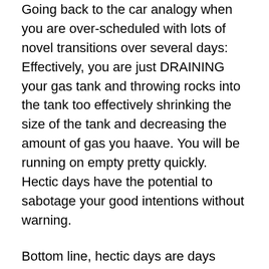Going back to the car analogy when you are over-scheduled with lots of novel transitions over several days: Effectively, you are just DRAINING your gas tank and throwing rocks into the tank too effectively shrinking the size of the tank and decreasing the amount of gas you haave. You will be running on empty pretty quickly. Hectic days have the potential to sabotage your good intentions without warning.
Bottom line, hectic days are days when you just have lots more going on & they are not your usual routine. These are dangerous days. Mistakes happen and good intentions fall by the way side. Often, we end up in survival mode and not being our best selves. We may stop taking the time to take care of ourselves. We are in danger of burn out. These are times when you eat the foods you know aren't good for you, when you are stressed out, when you